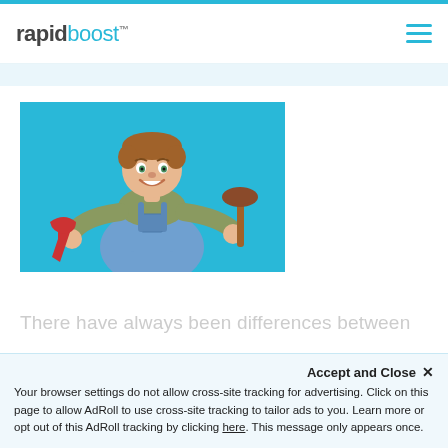rapidboost™
[Figure (illustration): Cartoon plumber holding a red pipe wrench in one hand and a plunger in the other, smiling, wearing blue overalls, on a light blue background.]
There have always been differences between
Accept and Close ×
Your browser settings do not allow cross-site tracking for advertising. Click on this page to allow AdRoll to use cross-site tracking to tailor ads to you. Learn more or opt out of this AdRoll tracking by clicking here. This message only appears once.